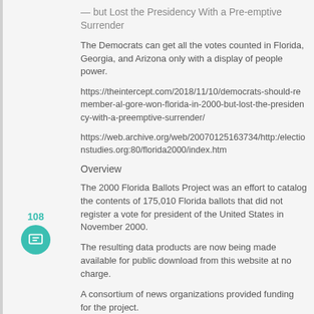— but Lost the Presidency With a Pre-emptive Surrender
The Democrats can get all the votes counted in Florida, Georgia, and Arizona only with a display of people power.
https://theintercept.com/2018/11/10/democrats-should-remember-al-gore-won-florida-in-2000-but-lost-the-presidency-with-a-preemptive-surrender/
https://web.archive.org/web/20070125163734/http:/electionstudies.org:80/florida2000/index.htm
Overview
The 2000 Florida Ballots Project was an effort to catalog the contents of 175,010 Florida ballots that did not register a vote for president of the United States in November 2000.
The resulting data products are now being made available for public download from this website at no charge.
A consortium of news organizations provided funding for the project.